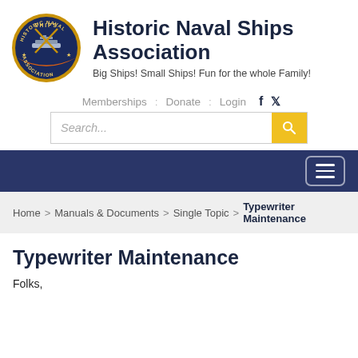[Figure (logo): Historic Naval Ships Association circular badge/seal logo with gold border, blue background, ship imagery, crossed anchors, and orange band]
Historic Naval Ships Association
Big Ships! Small Ships! Fun for the whole Family!
Memberships : Donate : Login
Search...
[Figure (screenshot): Dark navy navigation bar with hamburger menu button (three horizontal lines) in white rounded rectangle on the right]
Home > Manuals & Documents > Single Topic > Typewriter Maintenance
Typewriter Maintenance
Folks,